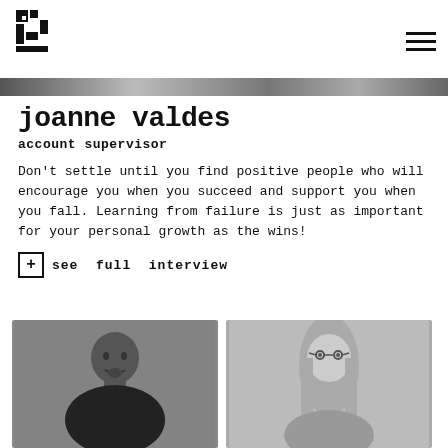[Figure (photo): Hero banner image strip across the top of the page]
joanne valdes
account supervisor
Don't settle until you find positive people who will encourage you when you succeed and support you when you fall. Learning from failure is just as important for your personal growth as the wins!
+ see full interview
[Figure (photo): Black and white photo of a smiling bald man with a goatee wearing a black t-shirt]
[Figure (photo): Black and white photo of a woman with long straight hair wearing round glasses]